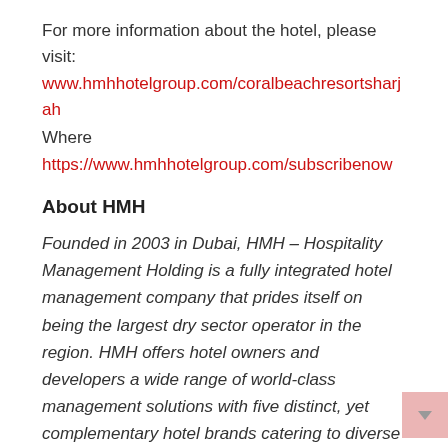For more information about the hotel, please visit:
www.hmhhotelgroup.com/coralbeachresortsharjah
Where
https://www.hmhhotelgroup.com/subscribenow
About HMH
Founded in 2003 in Dubai, HMH – Hospitality Management Holding is a fully integrated hotel management company that prides itself on being the largest dry sector operator in the region. HMH offers hotel owners and developers a wide range of world-class management solutions with five distinct, yet complementary hotel brands catering to diverse market